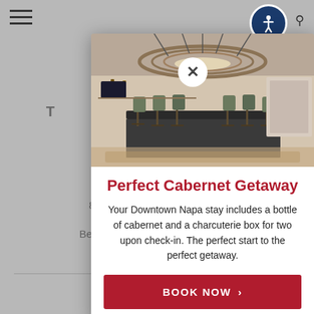[Figure (screenshot): Website page background (dimmed) showing a hotel/travel website with navigation, partially visible title text, and a booking button]
[Figure (photo): Interior photo of an upscale hotel bar/restaurant with circular pendant light fixtures, bar stools, and a large bar counter]
Perfect Cabernet Getaway
Your Downtown Napa stay includes a bottle of cabernet and a charcuterie box for two upon check-in. The perfect start to the perfect getaway.
BOOK NOW >